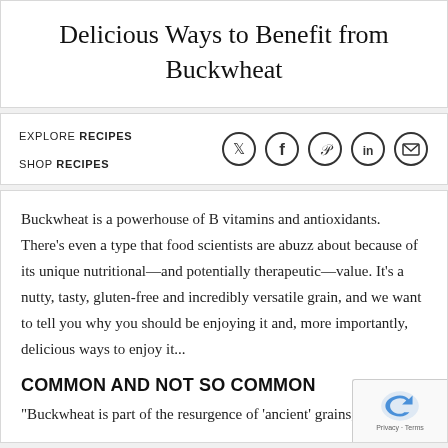Delicious Ways to Benefit from Buckwheat
EXPLORE RECIPES
SHOP RECIPES
[Figure (other): Social sharing icons: Twitter, Facebook, Pinterest, LinkedIn, Email]
Buckwheat is a powerhouse of B vitamins and antioxidants. There’s even a type that food scientists are abuzz about because of its unique nutritional—and potentially therapeutic—value. It’s a nutty, tasty, gluten-free and incredibly versatile grain, and we want to tell you why you should be enjoying it and, more importantly, delicious ways to enjoy it...
COMMON AND NOT SO COMMON
“Buckwheat is part of the resurgence of ‘ancient’ grains,